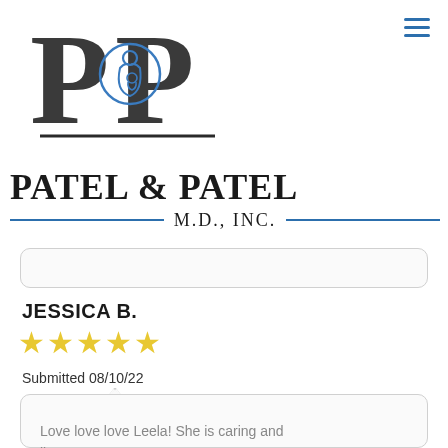[Figure (logo): Patel & Patel M.D. Inc. logo — two letter P shapes with a mother-and-baby silhouette in blue outline in the center]
PATEL & PATEL M.D., INC.
JESSICA B.
[Figure (other): Five yellow star rating]
Submitted 08/10/22
Love love love Leela! She is caring and listens to you.